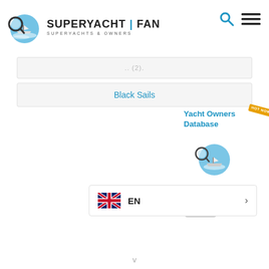[Figure (logo): SuperYacht Fan logo with magnifying glass and yacht illustration, text: SUPERYACHT | FAN, SUPERYACHTS & OWNERS]
.. (2).
Black Sails
[Figure (logo): Yacht Owners Database panel with HOT NOW badge and SuperYacht Fan mini-logo]
[Figure (screenshot): EN language selector button with UK flag and right arrow]
v